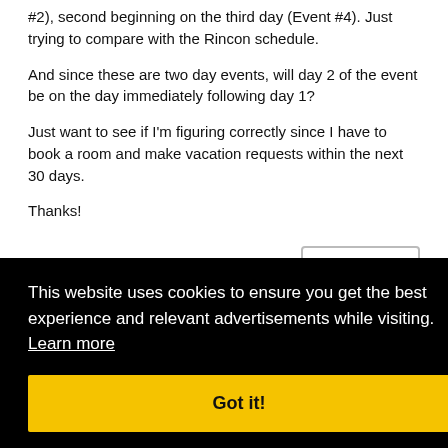#2), second beginning on the third day (Event #4). Just trying to compare with the Rincon schedule.
And since these are two day events, will day 2 of the event be on the day immediately following day 1?
Just want to see if I'm figuring correctly since I have to book a room and make vacation requests within the next 30 days.
Thanks!
Quote
This website uses cookies to ensure you get the best experience and relevant advertisements while visiting. Learn more
Got it!
#198
ent
...